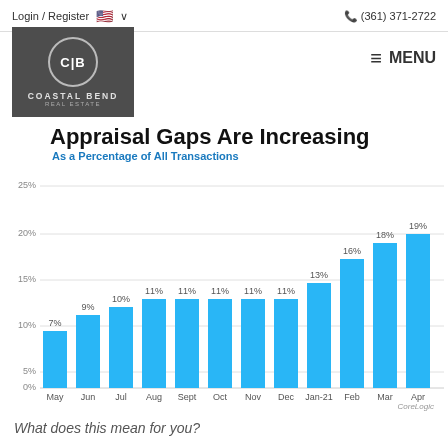Login / Register   🇺🇸 ∨          ☎ (361) 371-2722
[Figure (logo): Coastal Bend Real Estate logo — circular emblem with C|B initials on dark gray background]
Appraisal Gaps Are Increasing
As a Percentage of All Transactions
[Figure (bar-chart): Appraisal Gaps Are Increasing]
CoreLogic
What does this mean for you?